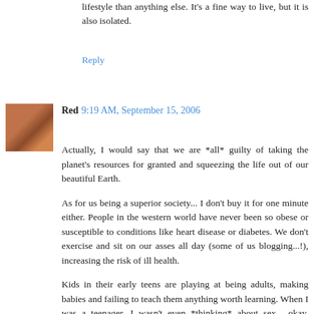lifestyle than anything else. It's a fine way to live, but it is also isolated.
Reply
Red 9:19 AM, September 15, 2006
Actually, I would say that we are *all* guilty of taking the planet's resources for granted and squeezing the life out of our beautiful Earth.
As for us being a superior society... I don't buy it for one minute either. People in the western world have never been so obese or susceptible to conditions like heart disease or diabetes. We don't exercise and sit on our asses all day (some of us blogging...!), increasing the risk of ill health.
Kids in their early teens are playing at being adults, making babies and failing to teach them anything worth learning. When I was a teenager, I wasn't even *thinking* about sex... okay, maybe I was thinking about it, but I wasn't doing it! I'd read in magazines about girls getting pregnant and I was terrified of the idea (still am!). Now all I hear